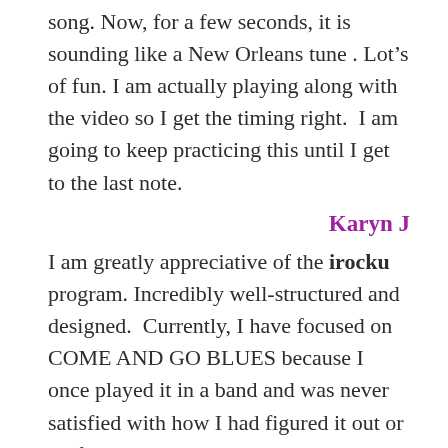song. Now, for a few seconds, it is sounding like a New Orleans tune . Lot’s of fun. I am actually playing along with the video so I get the timing right.  I am going to keep practicing this until I get to the last note.
Karyn J
I am greatly appreciative of the irocku program. Incredibly well-structured and designed.  Currently, I have focused on COME AND GO BLUES because I once played it in a band and was never satisfied with how I had figured it out or performed it. So along with a great piano study, it’s rewarding to go back to a song you’ve always loved and learn it right. I’m getting great joy from it — and tons of happy practice. Thanks, again for the program.
JohnF
I can do so much more with my playing now.  I’m garnering a lot of positive comments when I show up at